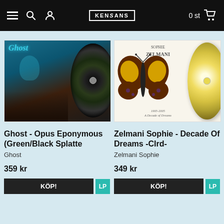Kensans — 0 st cart
[Figure (photo): Ghost - Opus Eponymous album cover with green/black splatter vinyl record]
[Figure (photo): Sophie Zelmani - Decade of Dreams album cover with butterfly artwork and gold colored vinyl record]
Ghost - Opus Eponymous (Green/Black Splatte
Ghost
359 kr
KÖP!
LP
Zelmani Sophie - Decade Of Dreams -Clrd-
Zelmani Sophie
349 kr
KÖP!
LP